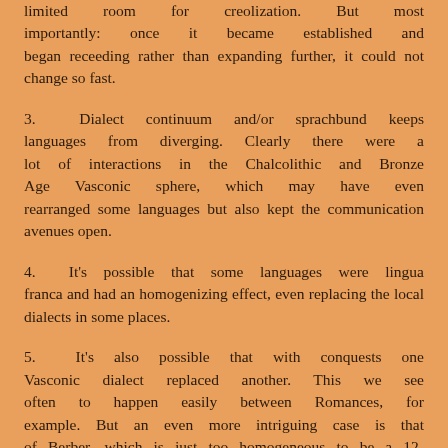limited room for creolization. But most importantly: once it became established and began receeding rather than expanding further, it could not change so fast.
3.  Dialect continuum and/or sprachbund keeps languages from diverging. Clearly there were a lot of interactions in the Chalcolithic and Bronze Age Vasconic sphere, which may have even rearranged some languages but also kept the communication avenues open.
4.  It's possible that some languages were lingua franca and had an homogenizing effect, even replacing the local dialects in some places.
5.  It's also possible that with conquests one Vasconic dialect replaced another. This we see often to happen easily between Romances, for example. But an even more intriguing case is that of Berber, which is just too homogeneous to be a 12-10.000 year old family. Obviously Berber was re-homogenized, maybe with the pre-Roman